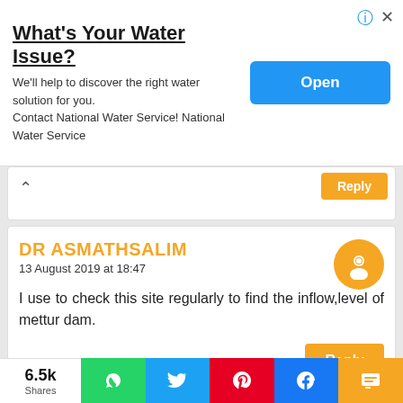[Figure (other): Advertisement banner: What's Your Water Issue? We'll help to discover the right water solution for you. Contact National Water Service! National Water Service. Blue Open button on right.]
13 August 2019 at 18:47
DR ASMATHSALIM
I use to check this site regularly to find the inflow,level of mettur dam.
UNKNOWN
31 August 2019 at 11:32
6.5k Shares